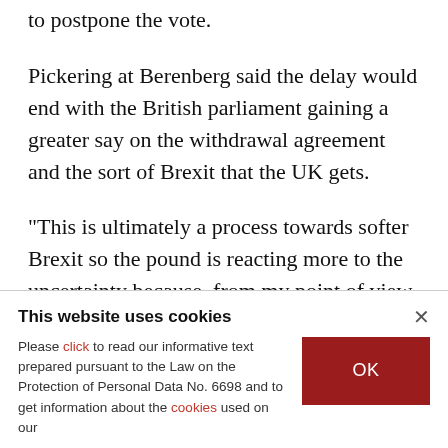to postpone the vote.
Pickering at Berenberg said the delay would end with the British parliament gaining a greater say on the withdrawal agreement and the sort of Brexit that the UK gets.
"This is ultimately a process towards softer Brexit so the pound is reacting more to the uncertainty because, from my point of view, this is mostly a
This website uses cookies
Please click to read our informative text prepared pursuant to the Law on the Protection of Personal Data No. 6698 and to get information about the cookies used on our